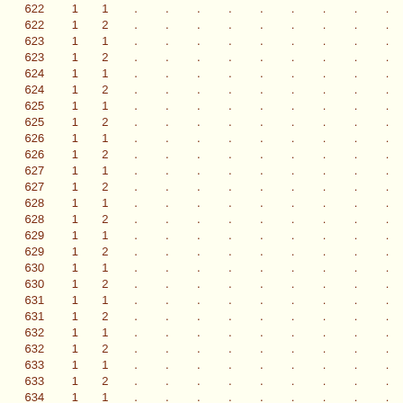|  |  |  | . | . | . | . | . | . | . | . | . |
| --- | --- | --- | --- | --- | --- | --- | --- | --- | --- | --- | --- |
| 622 | 1 | 1 | . | . | . | . | . | . | . | . | . |
| 622 | 1 | 2 | . | . | . | . | . | . | . | . | . |
| 623 | 1 | 1 | . | . | . | . | . | . | . | . | . |
| 623 | 1 | 2 | . | . | . | . | . | . | . | . | . |
| 624 | 1 | 1 | . | . | . | . | . | . | . | . | . |
| 624 | 1 | 2 | . | . | . | . | . | . | . | . | . |
| 625 | 1 | 1 | . | . | . | . | . | . | . | . | . |
| 625 | 1 | 2 | . | . | . | . | . | . | . | . | . |
| 626 | 1 | 1 | . | . | . | . | . | . | . | . | . |
| 626 | 1 | 2 | . | . | . | . | . | . | . | . | . |
| 627 | 1 | 1 | . | . | . | . | . | . | . | . | . |
| 627 | 1 | 2 | . | . | . | . | . | . | . | . | . |
| 628 | 1 | 1 | . | . | . | . | . | . | . | . | . |
| 628 | 1 | 2 | . | . | . | . | . | . | . | . | . |
| 629 | 1 | 1 | . | . | . | . | . | . | . | . | . |
| 629 | 1 | 2 | . | . | . | . | . | . | . | . | . |
| 630 | 1 | 1 | . | . | . | . | . | . | . | . | . |
| 630 | 1 | 2 | . | . | . | . | . | . | . | . | . |
| 631 | 1 | 1 | . | . | . | . | . | . | . | . | . |
| 631 | 1 | 2 | . | . | . | . | . | . | . | . | . |
| 632 | 1 | 1 | . | . | . | . | . | . | . | . | . |
| 632 | 1 | 2 | . | . | . | . | . | . | . | . | . |
| 633 | 1 | 1 | . | . | . | . | . | . | . | . | . |
| 633 | 1 | 2 | . | . | . | . | . | . | . | . | . |
| 634 | 1 | 1 | . | . | . | . | . | . | . | . | . |
| 634 | 1 | 2 | . | . | . | . | . | . | . | . | . |
| 635 | 1 | 1 | . | . | . | . | . | . | . | . | . |
| 635 | 1 | 2 | . | . | . | . | . | . | . | . | . |
| 636 | 1 | 1 | . | . | . | . | . | . | . | . | . |
| 636 | 1 | 2 | . | . | . | . | . | . | . | . | . |